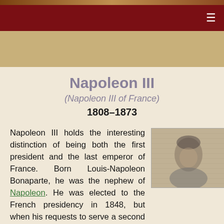[Figure (photo): Decorative header image bar with warm brown and tan tones]
≡
[Figure (photo): Tan/beige decorative banner area]
Napoleon III
(Napoleon III of France)
1808–1873
Napoleon III holds the interesting distinction of being both the first president and the last emperor of France. Born Louis-Napoleon Bonaparte, he was the nephew of Napoleon. He was elected to the French presidency in 1848, but when his requests to serve a second term were refused by the National Assembly, he organized a coup d'etat in 1851 and took control as dictator. Despite his
[Figure (photo): Black and white portrait photograph of Napoleon III, showing his face and upper body]